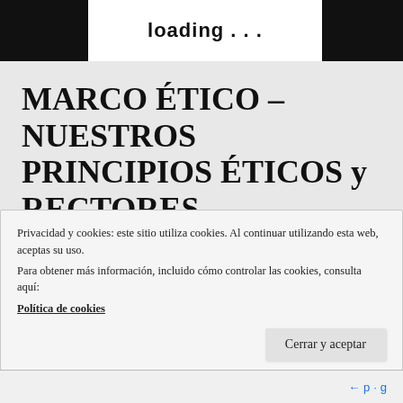loading . . .
MARCO ÉTICO – NUESTROS PRINCIPIOS ÉTICOS y RECTORES
ETHICAL FRAMEWORK – OUR ETHICAL AND GUIDING PRINCIPLES
Privacidad y cookies: este sitio utiliza cookies. Al continuar utilizando esta web, aceptas su uso.
Para obtener más información, incluido cómo controlar las cookies, consulta aquí:
Política de cookies
Cerrar y aceptar